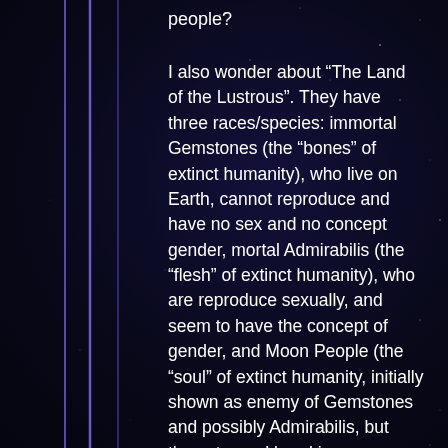people?
I also wonder about “The Land of the Lustrous”. They have three races/species: immortal Gemstones (the “bones” of extinct humanity), who live on Earth, cannot reproduce and have no sex and no concept gender, mortal Admirabilis (the “flesh” of extinct humanity), who are reproduce sexually, and seem to have the concept of gender, and Moon People (the “soul” of extinct humanity, initially shown as enemy of Gemstones and possibly Admirabilis, but then stopped breaking Gemstones and accepted collaboration). I’ve seen two